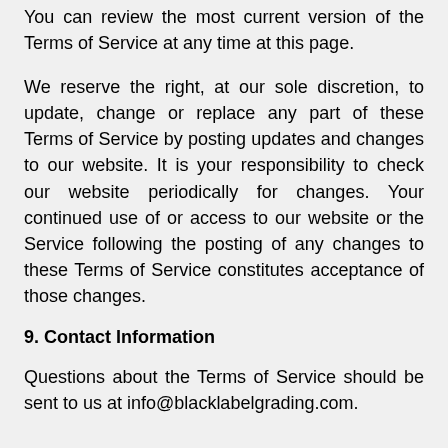You can review the most current version of the Terms of Service at any time at this page.
We reserve the right, at our sole discretion, to update, change or replace any part of these Terms of Service by posting updates and changes to our website. It is your responsibility to check our website periodically for changes. Your continued use of or access to our website or the Service following the posting of any changes to these Terms of Service constitutes acceptance of those changes.
9. Contact Information
Questions about the Terms of Service should be sent to us at info@blacklabelgrading.com.